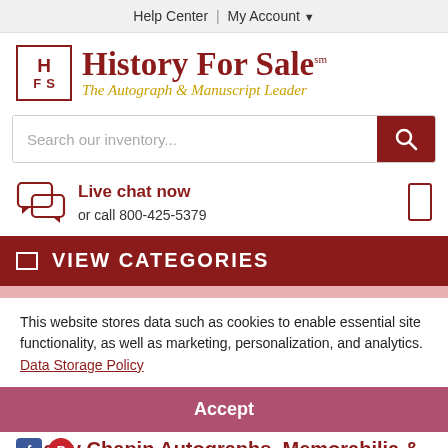Help Center | My Account
[Figure (logo): History For Sale logo - HFS box with gothic text and tagline 'The Autograph & Manuscript Leader']
Search our inventory...
Live chat now
or call 800-425-5379
VIEW CATEGORIES
This website stores data such as cookies to enable essential site functionality, as well as marketing, personalization, and analytics. Data Storage Policy
Accept
Harry Chapin Autographs, Memorabilia & Collectibles
Deny
About this Signer